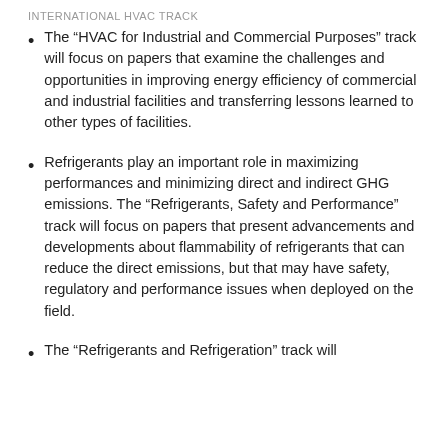INTERNATIONAL HVAC TRACK
The “HVAC for Industrial and Commercial Purposes” track will focus on papers that examine the challenges and opportunities in improving energy efficiency of commercial and industrial facilities and transferring lessons learned to other types of facilities.
Refrigerants play an important role in maximizing performances and minimizing direct and indirect GHG emissions. The “Refrigerants, Safety and Performance” track will focus on papers that present advancements and developments about flammability of refrigerants that can reduce the direct emissions, but that may have safety, regulatory and performance issues when deployed on the field.
The “Refrigerants and Refrigeration” track will